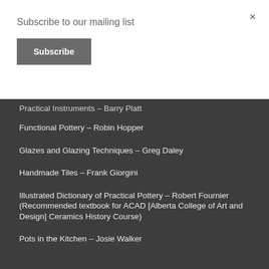Subscribe to our mailing list
Subscribe
×
Practical Instruments – Barry Platt
Functional Pottery – Robin Hopper
Glazes and Glazing Techniques – Greg Daley
Handmade Tiles – Frank Giorgini
Illustrated Dictionary of Practical Pottery – Robert Fournier (Recommended textbook for ACAD [Alberta College of Art and Design] Ceramics History Course)
Pots in the Kitchen – Josie Walker